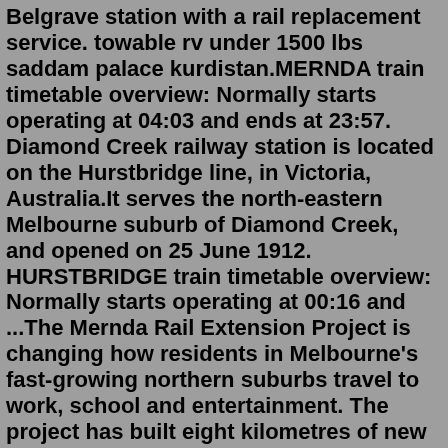Belgrave station with a rail replacement service. towable rv under 1500 lbs saddam palace kurdistan.MERNDA train timetable overview: Normally starts operating at 04:03 and ends at 23:57. Diamond Creek railway station is located on the Hurstbridge line, in Victoria, Australia.It serves the north-eastern Melbourne suburb of Diamond Creek, and opened on 25 June 1912. HURSTBRIDGE train timetable overview: Normally starts operating at 00:16 and ...The Mernda Rail Extension Project is changing how residents in Melbourne's fast-growing northern suburbs travel to work, school and entertainment. The project has built eight kilometres of new rail line and three new stations that are expected to cater for up to 8000 commuters a day: Mernda Station on Bridge Inn Road in Mernda. More than one million passengers have used the $600 million Mernda Rail line, nine months on from the extension opening. Minister for Public Transport Melissa Horne and Member for Yan Yean Danielle Green today visited Mernda station where passenger